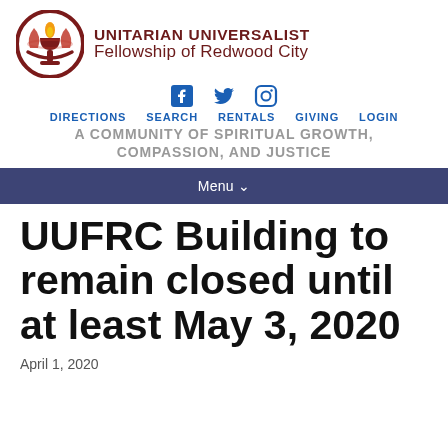UNITARIAN UNIVERSALIST Fellowship of Redwood City
[Figure (logo): UU chalice logo — circular emblem with a chalice/flame in red and gold colors, with a dark red circular border]
Social media icons: Facebook, Twitter, Instagram
DIRECTIONS   SEARCH   RENTALS   GIVING   LOGIN
A COMMUNITY OF SPIRITUAL GROWTH, COMPASSION, AND JUSTICE
Menu
UUFRC Building to remain closed until at least May 3, 2020
April 1, 2020